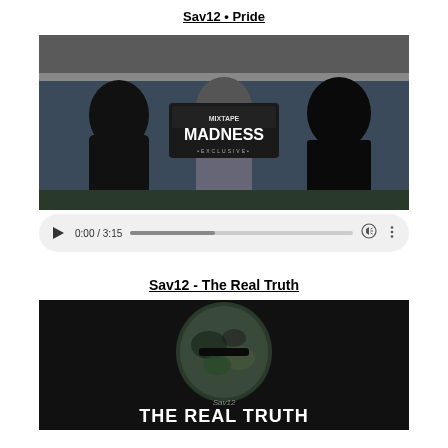Sav12 • Pride
[Figure (screenshot): Video thumbnail showing three masked individuals standing under a bridge, with a Mixtape Madness Exclusive logo overlay in the center]
[Figure (screenshot): Audio/video player bar showing play button, time 0:00 / 3:15, progress bar, volume icon, and more options icon]
Sav12 - The Real Truth
[Figure (screenshot): Video thumbnail showing a dark background with a camouflage balaclava/mask in the center and text 'Sav12 THE REAL TRUTH' at the bottom]